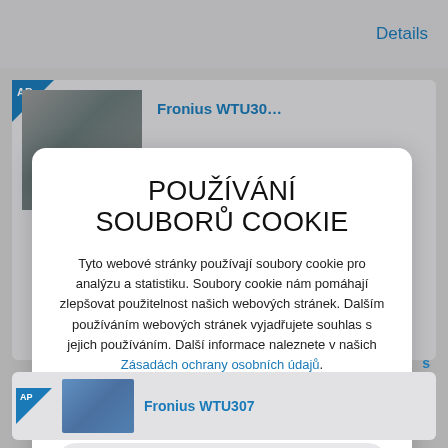Details
[Figure (screenshot): Partial product card with AP badge and thumbnail image, partially obscured by cookie modal]
POUŽÍVÁNÍ SOUBORŮ COOKIE
Tyto webové stránky používají soubory cookie pro analýzu a statistiku. Soubory cookie nám pomáhají zlepšovat použitelnost našich webových stránek. Dalším používáním webových stránek vyjadřujete souhlas s jejich používáním. Další informace naleznete v našich Zásadách ochrany osobních údajů.
POVOLIT VŠECHNY
Povolit pouze nezbytné
[Figure (screenshot): Product card for Fronius WTU307 with thumbnail image and AP badge]